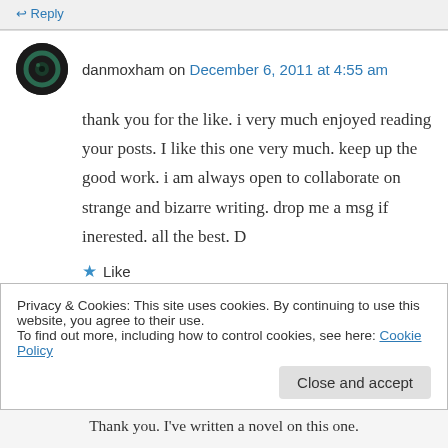↩ Reply
danmoxham on December 6, 2011 at 4:55 am
thank you for the like. i very much enjoyed reading your posts. I like this one very much. keep up the good work. i am always open to collaborate on strange and bizarre writing. drop me a msg if inerested. all the best. D
★ Like
↩ Reply
Privacy & Cookies: This site uses cookies. By continuing to use this website, you agree to their use.
To find out more, including how to control cookies, see here: Cookie Policy
Close and accept
Thank you. I've written a novel on this one.